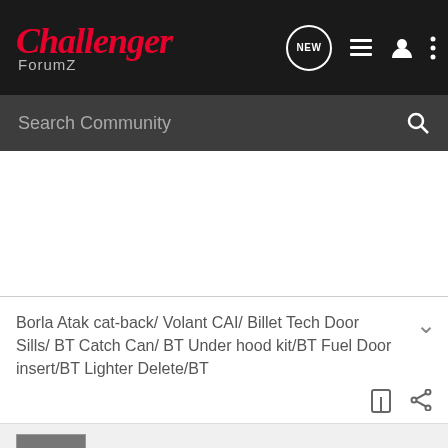Challenger ForumZ — navigation bar with logo, NEW, list, user, and more icons
Search Community
Borla Atak cat-back/ Volant CAI/ Billet Tech Door Sills/ BT Catch Can/ BT Under hood kit/BT Fuel Door insert/BT Lighter Delete/BT
Willstingu · Registered
Joined Aug 24, 2012 · 83 Posts
#14 · Mar 2, 2014
I say go for it!. Actually I just wanted to show off my beautiful